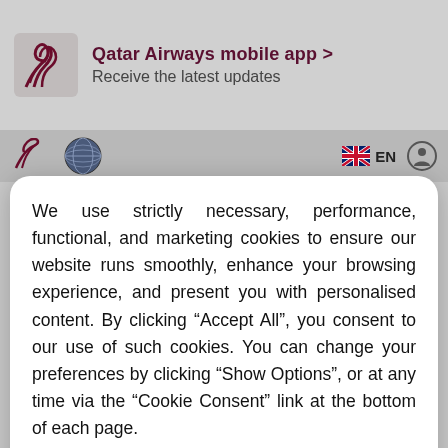[Figure (screenshot): Qatar Airways website background showing app promotion banner and navigation bar with logo, globe icon, UK flag and EN language selector, and a circular icon.]
We use strictly necessary, performance, functional, and marketing cookies to ensure our website runs smoothly, enhance your browsing experience, and present you with personalised content. By clicking “Accept All”, you consent to our use of such cookies. You can change your preferences by clicking “Show Options”, or at any time via the “Cookie Consent” link at the bottom of each page.
Accept All
Show Options